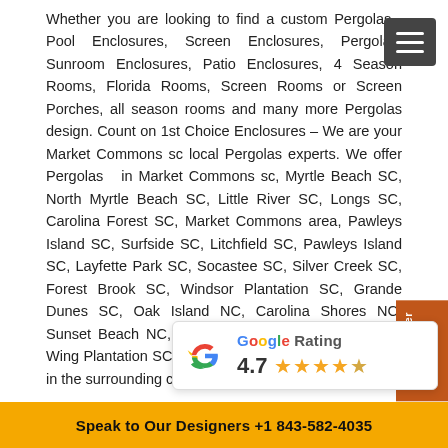Whether you are looking to find a custom Pergolas, Pool Enclosures, Screen Enclosures, Pergolas, Sunroom Enclosures, Patio Enclosures, 4 Season Rooms, Florida Rooms, Screen Rooms or Screen Porches, all season rooms and many more Pergolas design. Count on 1st Choice Enclosures – We are your Market Commons sc local Pergolas experts. We offer Pergolas in Market Commons sc, Myrtle Beach SC, North Myrtle Beach SC, Little River SC, Longs SC, Carolina Forest SC, Market Commons area, Pawleys Island SC, Surfside SC, Litchfield SC, Pawleys Island SC, Layfette Park SC, Socastee SC, Silver Creek SC, Forest Brook SC, Windsor Plantation SC, Grande Dunes SC, Oak Island NC, Carolina Shores NC, Sunset Beach NC, Murrells Inlet SC, Arrowhead SC, Wing Plantation SC, Prince SC, cities and communities in the surrounding cities in or
[Figure (other): Google Rating badge showing 4.7 stars out of 5]
Speak to Our Designers +1 843-582-4035